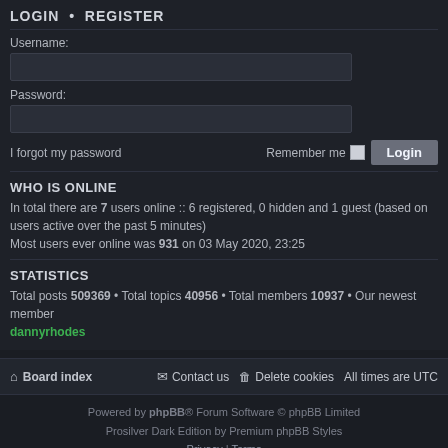LOGIN • REGISTER
Username:
Password:
I forgot my password    Remember me  [checkbox]  Login
WHO IS ONLINE
In total there are 7 users online :: 6 registered, 0 hidden and 1 guest (based on users active over the past 5 minutes)
Most users ever online was 931 on 03 May 2020, 23:25
STATISTICS
Total posts 509369 • Total topics 40956 • Total members 10937 • Our newest member dannyrhodes
Board index   Contact us   Delete cookies   All times are UTC
Powered by phpBB® Forum Software © phpBB Limited
Prosilver Dark Edition by Premium phpBB Styles
Privacy | Terms